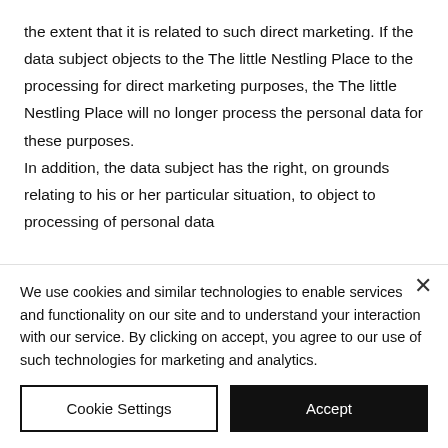the extent that it is related to such direct marketing. If the data subject objects to the The little Nestling Place to the processing for direct marketing purposes, the The little Nestling Place will no longer process the personal data for these purposes. In addition, the data subject has the right, on grounds relating to his or her particular situation, to object to processing of personal data...
We use cookies and similar technologies to enable services and functionality on our site and to understand your interaction with our service. By clicking on accept, you agree to our use of such technologies for marketing and analytics.